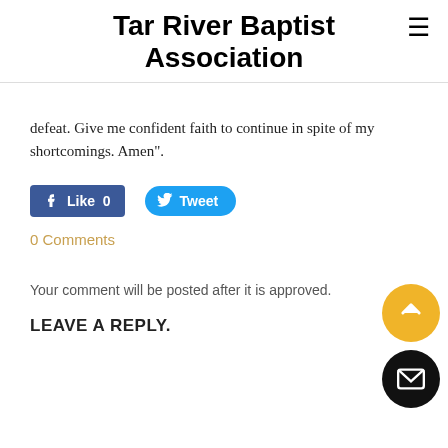Tar River Baptist Association
defeat.  Give me confident faith to continue in spite of my shortcomings.  Amen".
[Figure (screenshot): Facebook Like button showing 0 likes and Twitter Tweet button]
0 Comments
Your comment will be posted after it is approved.
LEAVE A REPLY.